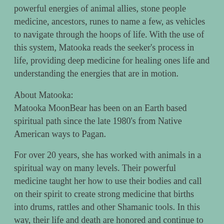powerful energies of animal allies, stone people medicine, ancestors, runes to name a few, as vehicles to navigate through the hoops of life. With the use of this system, Matooka reads the seeker's process in life, providing deep medicine for healing ones life and understanding the energies that are in motion.
About Matooka:
Matooka MoonBear has been on an Earth based spiritual path since the late 1980's from Native American ways to Pagan.
For over 20 years, she has worked with animals in a spiritual way on many levels. Their powerful medicine taught her how to use their bodies and call on their spirit to create strong medicine that births into drums, rattles and other Shamanic tools. In this way, their life and death are honored and continue to give to the people.
Matooka is an accomplished Kriya Massage Therapist